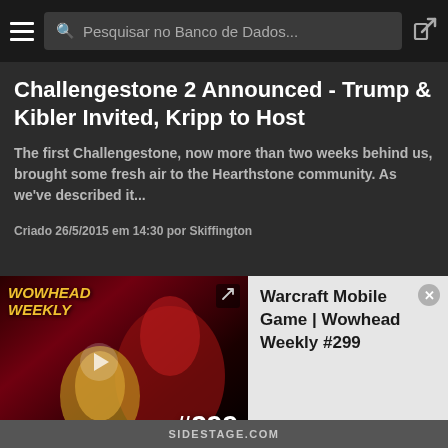Pesquisar no Banco de Dados...
Challengestone 2 Announced - Trump & Kibler Invited, Kripp to Host
The first Challengestone, now more than two weeks behind us, brought some fresh air to the Hearthstone community. As we've described it...
Criado 26/5/2015 em 14:30 por Skiffington
HEARTHSTONE
[Figure (screenshot): Wowhead Weekly #299 video thumbnail with anime-style characters]
Warcraft Mobile Game | Wowhead Weekly #299
SIDESTAGE.COM